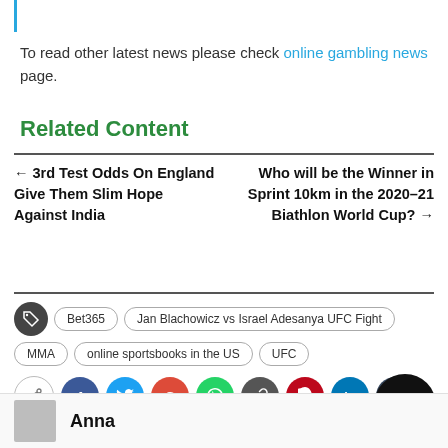To read other latest news please check online gambling news page.
Related Content
← 3rd Test Odds On England Give Them Slim Hope Against India
Who will be the Winner in Sprint 10km in the 2020–21 Biathlon World Cup? →
Tags: Bet365, Jan Blachowicz vs Israel Adesanya UFC Fight, MMA, online sportsbooks in the US, UFC
[Figure (infographic): Social share buttons: share, Facebook, Twitter, Google+, WhatsApp, link, Pinterest, LinkedIn, Tumblr]
Anna